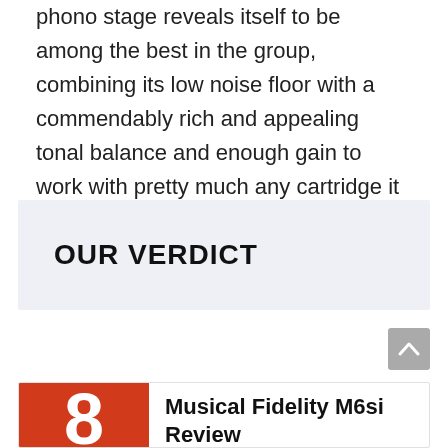phono stage reveals itself to be among the best in the group, combining its low noise floor with a commendably rich and appealing tonal balance and enough gain to work with pretty much any cartridge it is likely to encounter
OUR VERDICT
Musical Fidelity M6si Review
A big, powerful amplifier, but